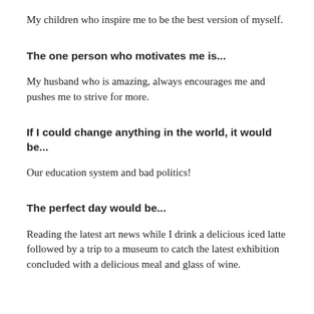My children who inspire me to be the best version of myself.
The one person who motivates me is...
My husband who is amazing, always encourages me and pushes me to strive for more.
If I could change anything in the world, it would be...
Our education system and bad politics!
The perfect day would be...
Reading the latest art news while I drink a delicious iced latte followed by a trip to a museum to catch the latest exhibition concluded with a delicious meal and glass of wine.